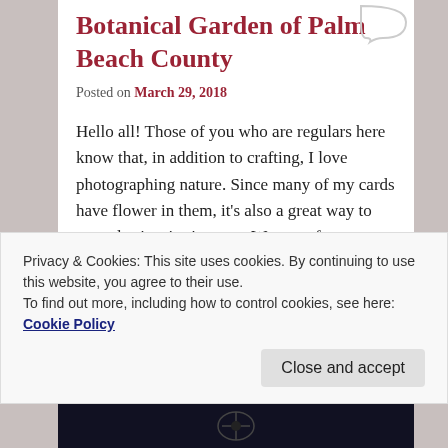Botanical Garden of Palm Beach County
Posted on March 29, 2018
Hello all! Those of you who are regulars here know that, in addition to crafting, I love photographing nature. Since many of my cards have flower in them, it’s also a great way to get color inspiration, too. We were fortunate to have some cooler days in March this year. After having missed most of the nice weather with that 3 month migraine, it was wonderful to get out and enjoy a garden again!
Privacy & Cookies: This site uses cookies. By continuing to use this website, you agree to their use.
To find out more, including how to control cookies, see here: Cookie Policy
Close and accept